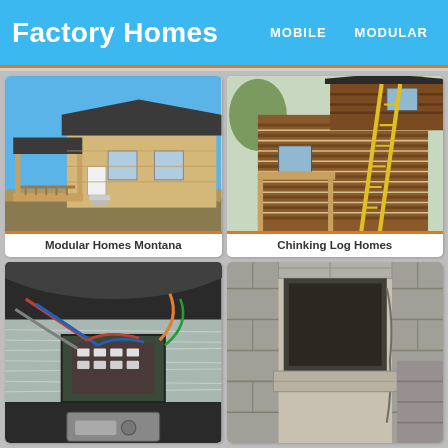Factory Homes | MOBILE | MODULAR
[Figure (photo): Single-wide modular home with wooden porch and railing, blue sky background, light wood siding.]
Modular Homes Montana
[Figure (photo): Two-story log cabin style home with chinking, construction ladder leaning against side, trees in background.]
Chinking Log Homes
[Figure (photo): Interior under-floor view showing electrical wiring, insulation, and mechanical components of a manufactured home.]
[Figure (photo): Outdoor concrete block fireplace/chimney structure under construction, showing rough masonry blocks.]